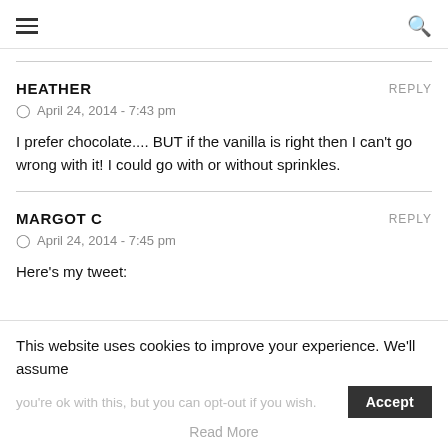≡  [search icon]
HEATHER   REPLY
⊙  April 24, 2014 - 7:43 pm
I prefer chocolate.... BUT if the vanilla is right then I can't go wrong with it! I could go with or without sprinkles.
MARGOT C   REPLY
⊙  April 24, 2014 - 7:45 pm
Here's my tweet:
This website uses cookies to improve your experience. We'll assume you're ok with this, but you can opt-out if you wish.  Accept
Read More